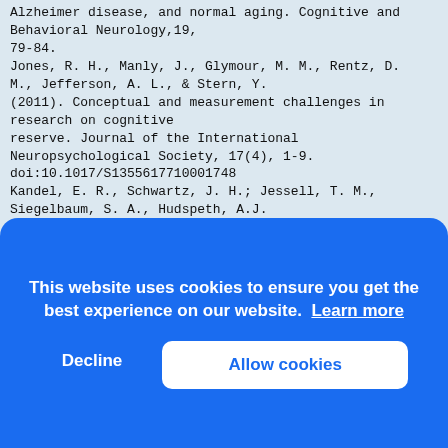Alzheimer disease, and normal aging. Cognitive and Behavioral Neurology,19,
79-84.
Jones, R. H., Manly, J., Glymour, M. M., Rentz, D. M., Jefferson, A. L., & Stern, Y.
(2011). Conceptual and measurement challenges in research on cognitive
reserve. Journal of the International Neuropsychological Society, 17(4), 1-9.
doi:10.1017/S1355617710001748
Kandel, E. R., Schwartz, J. H.; Jessell, T. M., Siegelbaum, S. A., Hudspeth, A.J.
(2012). Principles of Neural Science. New York: McGraw-Hill.
Kawano, N., Umegaki, H., Suzuki, Y., Yamamoto, S., Mogi, N., & Iguchi, A. (2010).
Effects of educational background on verbal fluency task performance in older
adults with Alzheimer's disease and mild cognitive impairment. International
Psyc[...] Social Issue From Tokin...
Psyc[...]
995-[...]
Kram[...]
E.,[...]
J.,[...]
(199[...]
neu[...]
Lojo[...]
¿Pre[...]
inte[...]
reserva cognitiva y
[Figure (screenshot): Cookie consent banner overlay with blue background. Text reads: 'This website uses cookies to ensure you get the best experience on our website. Learn more'. Two buttons: 'Decline' (white text, no background) and 'Allow cookies' (blue text, white rounded background).]